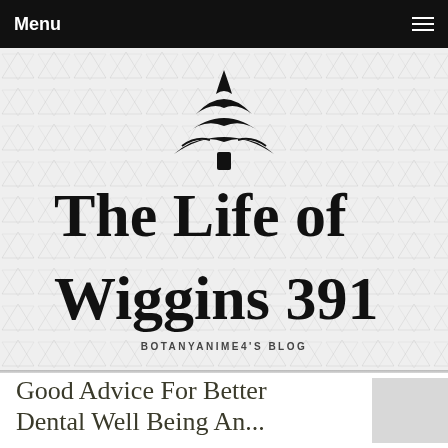Menu
[Figure (logo): The Life of Wiggins 391 blog logo with a hand-drawn pine tree and handwritten text title, on a geometric patterned background. Subtitle reads BOTANYANIME4'S BLOG]
Good Advice For Better
Dental Well Being And...